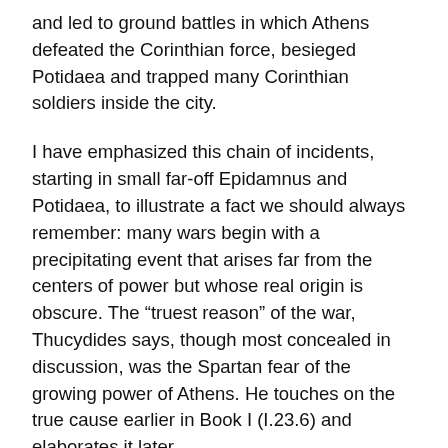and led to ground battles in which Athens defeated the Corinthian force, besieged Potidaea and trapped many Corinthian soldiers inside the city.
I have emphasized this chain of incidents, starting in small far-off Epidamnus and Potidaea, to illustrate a fact we should always remember: many wars begin with a precipitating event that arises far from the centers of power but whose real origin is obscure. The “truest reason” of the war, Thucydides says, though most concealed in discussion, was the Spartan fear of the growing power of Athens. He touches on the true cause earlier in Book I (I.23.6) and elaborates it later.
When Corinth called its allies to Sparta for a conference to condemn Athens, each harbored local grievances: the Corinthians complained that Athens was besieging a colony of theirs with men of Corinth and the Peloponnesus trapped inside; the Athenians complained